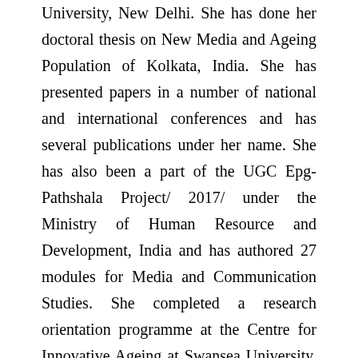University, New Delhi. She has done her doctoral thesis on New Media and Ageing Population of Kolkata, India. She has presented papers in a number of national and international conferences and has several publications under her name. She has also been a part of the UGC Epg-Pathshala Project/ 2017/ under the Ministry of Human Resource and Development, India and has authored 27 modules for Media and Communication Studies. She completed a research orientation programme at the Centre for Innovative Ageing at Swansea University, Wales, UK (2015) under UGC-UKIERI Thematic Partnership Programme. She can be reached at Vivekananda